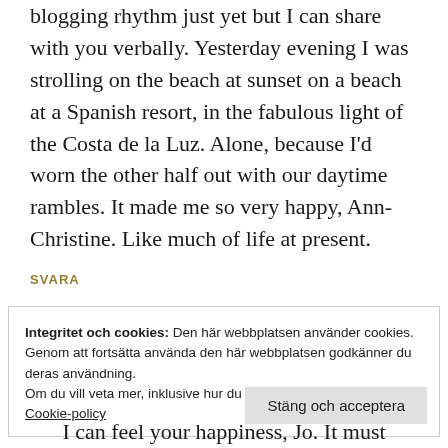blogging rhythm just yet but I can share with you verbally. Yesterday evening I was strolling on the beach at sunset on a beach at a Spanish resort, in the fabulous light of the Costa de la Luz. Alone, because I'd worn the other half out with our daytime rambles. It made me so very happy, Ann-Christine. Like much of life at present.
SVARA
Integritet och cookies: Den här webbplatsen använder cookies. Genom att fortsätta använda den här webbplatsen godkänner du deras användning. Om du vill veta mer, inklusive hur du kontrollerar cookies, se: Cookie-policy
Stäng och acceptera
I can feel your happiness, Jo. It must